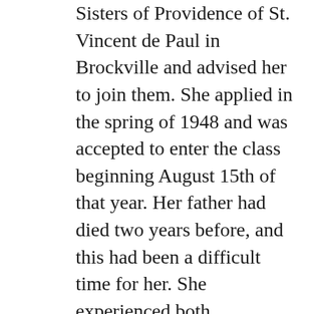Sisters of Providence of St. Vincent de Paul in Brockville and advised her to join them. She applied in the spring of 1948 and was accepted to enter the class beginning August 15th of that year. Her father had died two years before, and this had been a difficult time for her. She experienced both excitement and sorrow during the months of preparation. But on August 13th Maggie, her husband, and their 2 year old son accompanied her on the journey to Kingston. Upon arriving at the station in Kingston, they were met by Sister Mary Claude.
Sybil's novitiate was wonderful and yet very difficult for her. She experienced much loneliness. Her mother died suddenly on the eve of her retreat before receiving the Habit. Fortunately Maggie and her son were present for her Reception of the Habit.
After her First Profession of Vows on August 15, 1950, Sister Mary George was sent to the House of